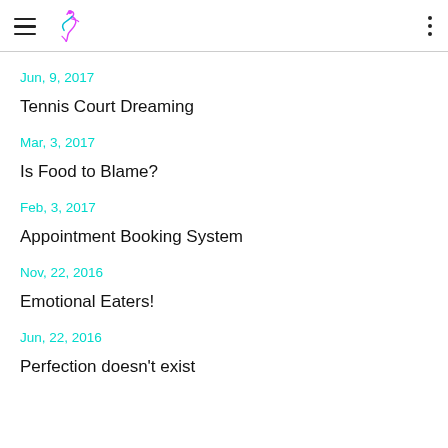[navigation header with logo and menu icons]
Jun, 9, 2017
Tennis Court Dreaming
Mar, 3, 2017
Is Food to Blame?
Feb, 3, 2017
Appointment Booking System
Nov, 22, 2016
Emotional Eaters!
Jun, 22, 2016
Perfection doesn't exist